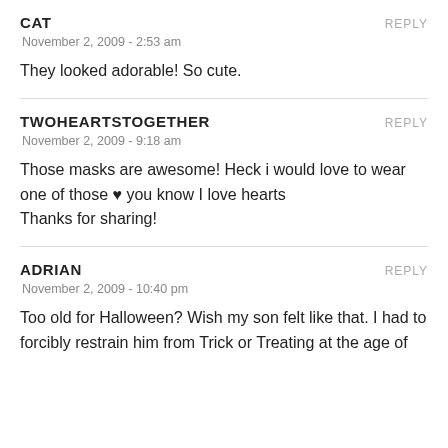CAT
REPLY
November 2, 2009 - 2:53 am
They looked adorable! So cute.
TWOHEARTSTOGETHER
REPLY
November 2, 2009 - 9:18 am
Those masks are awesome! Heck i would love to wear one of those ♥ you know I love hearts
Thanks for sharing!
ADRIAN
REPLY
November 2, 2009 - 10:40 pm
Too old for Halloween? Wish my son felt like that. I had to forcibly restrain him from Trick or Treating at the age of